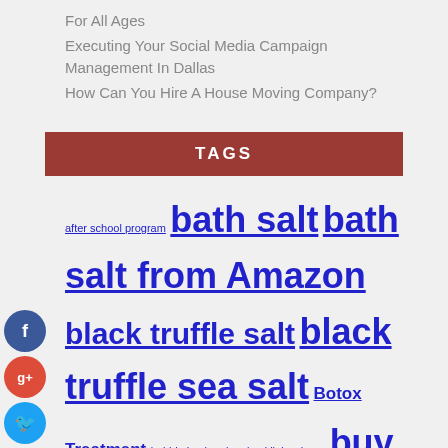For All Ages
Executing Your Social Media Campaign Management In Dallas
How Can You Hire A House Moving Company?
TAGS
after school program bath salt bath salt from Amazon black truffle salt black truffle sea salt Botox Treatment bubble hockey buy backlinks cheap buy Dead Sea salt buy quality backlinks Dead Sea salt Dead Sea salt from Amazon Digital marketing Digital Marketing Agency digital marketing course digital marketing courses electrical services extreme sport Furniture health Himalayan